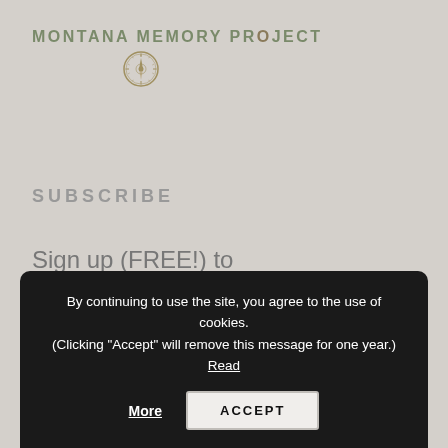[Figure (logo): Montana Memory Project logo with compass icon]
SUBSCRIBE
Sign up (FREE!) to receive the latest Library News by email...
Email Address
First Name
By continuing to use the site, you agree to the use of cookies. (Clicking "Accept" will remove this message for one year.) Read More
ACCEPT